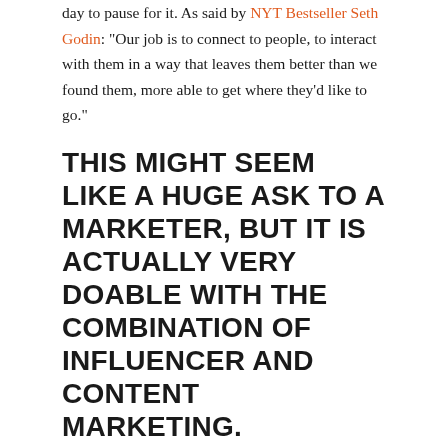day to pause for it. As said by NYT Bestseller Seth Godin: "Our job is to connect to people, to interact with them in a way that leaves them better than we found them, more able to get where they'd like to go."
THIS MIGHT SEEM LIKE A HUGE ASK TO A MARKETER, BUT IT IS ACTUALLY VERY DOABLE WITH THE COMBINATION OF INFLUENCER AND CONTENT MARKETING.
Start with embedding your brand message within a genuinely valuable or interesting story, this will draw in and hold consumer attention.